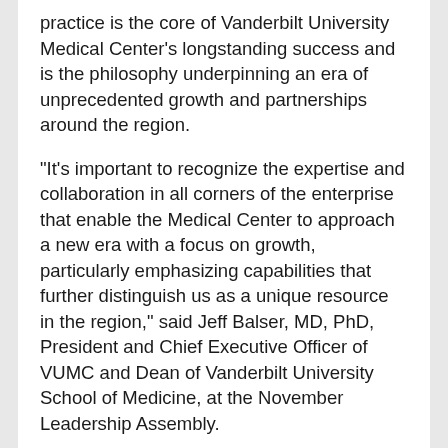practice is the core of Vanderbilt University Medical Center's longstanding success and is the philosophy underpinning an era of unprecedented growth and partnerships around the region.
"It's important to recognize the expertise and collaboration in all corners of the enterprise that enable the Medical Center to approach a new era with a focus on growth, particularly emphasizing capabilities that further distinguish us as a unique resource in the region," said Jeff Balser, MD, PhD, President and Chief Executive Officer of VUMC and Dean of Vanderbilt University School of Medicine, at the November Leadership Assembly.
"I think of VUMC as a melting pot of capabilities. There's not a clinical enterprise and an academic enterprise — we merge the two together. Our training and research programs are fundamental in making us a leader in complex care. We are